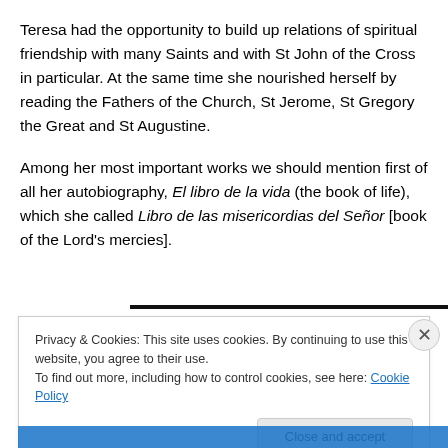Teresa had the opportunity to build up relations of spiritual friendship with many Saints and with St John of the Cross in particular. At the same time she nourished herself by reading the Fathers of the Church, St Jerome, St Gregory the Great and St Augustine.
Among her most important works we should mention first of all her autobiography, El libro de la vida (the book of life), which she called Libro de las misericordias del Señor [book of the Lord's mercies].
Privacy & Cookies: This site uses cookies. By continuing to use this website, you agree to their use.
To find out more, including how to control cookies, see here: Cookie Policy